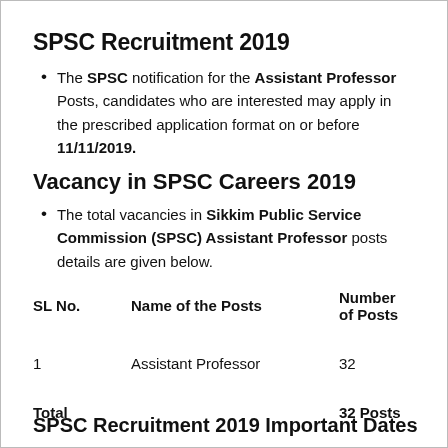SPSC Recruitment 2019
The SPSC notification for the Assistant Professor Posts, candidates who are interested may apply in the prescribed application format on or before 11/11/2019.
Vacancy in SPSC Careers 2019
The total vacancies in Sikkim Public Service Commission (SPSC) Assistant Professor posts details are given below.
| SL No. | Name of the Posts | Number of Posts |
| --- | --- | --- |
| 1 | Assistant Professor | 32 |
| Total |  | 32 Posts |
SPSC Recruitment 2019 Important Dates